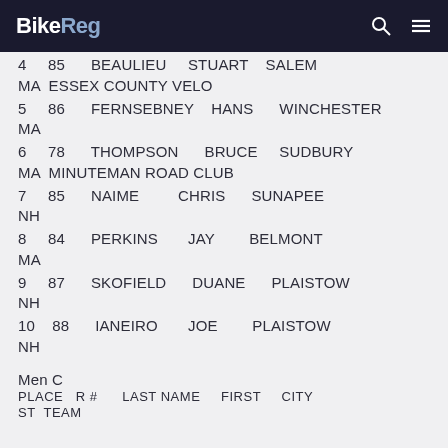BikeReg
4  85  BEAULIEU  STUART  SALEM MA  ESSEX COUNTY VELO
5  86  FERNSEBNEY  HANS  WINCHESTER MA
6  78  THOMPSON  BRUCE  SUDBURY MA  MINUTEMAN ROAD CLUB
7  85  NAIME  CHRIS  SUNAPEE NH
8  84  PERKINS  JAY  BELMONT MA
9  87  SKOFIELD  DUANE  PLAISTOW NH
10  88  IANEIRO  JOE  PLAISTOW NH
Men C
PLACE  R #  LAST NAME  FIRST  CITY  ST  TEAM